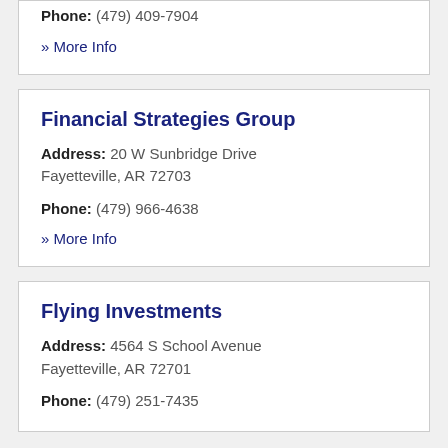Phone: (479) 409-7904
» More Info
Financial Strategies Group
Address: 20 W Sunbridge Drive Fayetteville, AR 72703
Phone: (479) 966-4638
» More Info
Flying Investments
Address: 4564 S School Avenue Fayetteville, AR 72701
Phone: (479) 251-7435